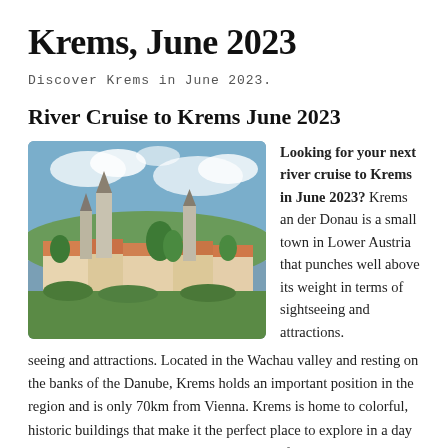Krems, June 2023
Discover Krems in June 2023.
River Cruise to Krems June 2023
[Figure (photo): Aerial/elevated view of Krems an der Donau showing historic church towers, orange-roofed buildings, and lush trees under a blue sky with clouds.]
Looking for your next river cruise to Krems in June 2023? Krems an der Donau is a small town in Lower Austria that punches well above its weight in terms of sightseeing and attractions. Located in the Wachau valley and resting on the banks of the Danube, Krems holds an important position in the region and is only 70km from Vienna. Krems is home to colorful, historic buildings that make it the perfect place to explore in a day or less. This historic city has a rich history of wine production, and also boasts great charm and character with its old architecture and favourable seat on the Danube. Find